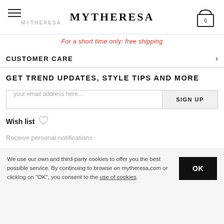MYTHERESA
For a short time only: free shipping
CUSTOMER CARE
GET TREND UPDATES, STYLE TIPS AND MORE
your email address here...  SIGN UP
Wish list
Receive personal notifications
Follow us on
[Figure (illustration): Social media icons row: LinkedIn, Facebook, Twitter, Pinterest, Instagram, YouTube, mobile, WeChat, Weibo]
We use our own and third-party cookies to offer you the best possible service. By continuing to browse on mytheresa.com or clicking on "OK", you consent to the use of cookies.